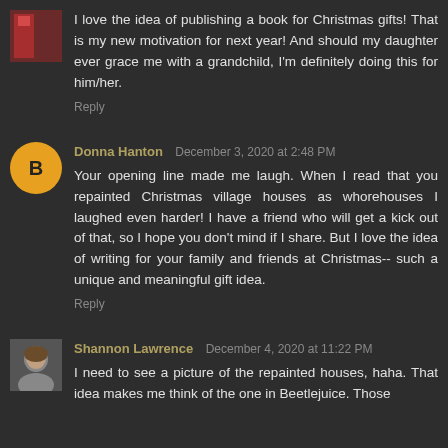I love the idea of publishing a book for Christmas gifts! That is my new motivation for next year! And should my daughter ever grace me with a grandchild, I'm definitely doing this for him/her.
Reply
Donna Hanton  December 3, 2020 at 2:48 PM
Your opening line made me laugh. When I read that you repainted Christmas village houses as whorehouses I laughed even harder! I have a friend who will get a kick out of that, so I hope you don't mind if I share. But I love the idea of writing for your family and friends at Christmas-- such a unique and meaningful gift idea.
Reply
Shannon Lawrence  December 4, 2020 at 11:22 PM
I need to see a picture of the repainted houses, haha. That idea makes me think of the one in Beetlejuice. Those